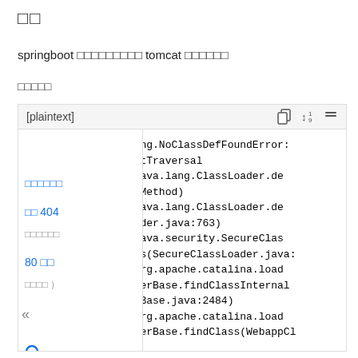□□
springboot □□□□□□□□□ tomcat □□□□□□
□□□□□
[Figure (screenshot): Code block showing a Java stack trace with NoClassDefFoundError for org/w3c/dom/ElementTraversal, with sidebar navigation links and icons for copy/sort/collapse. The stack trace includes java.lang.ClassLoader, java.security.SecureClassLoader, and org.apache.catalina.loader.WebappClassLoaderBase lines.]